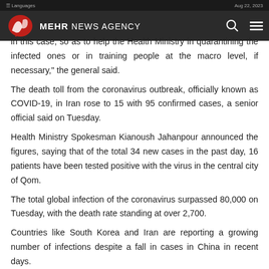MEHR NEWS AGENCY
in this case, so as to help the Health Ministry in quarantining the infected ones or in training people at the macro level, if necessary," the general said.
The death toll from the coronavirus outbreak, officially known as COVID-19, in Iran rose to 15 with 95 confirmed cases, a senior official said on Tuesday.
Health Ministry Spokesman Kianoush Jahanpour announced the figures, saying that of the total 34 new cases in the past day, 16 patients have been tested positive with the virus in the central city of Qom.
The total global infection of the coronavirus surpassed 80,000 on Tuesday, with the death rate standing at over 2,700.
Countries like South Korea and Iran are reporting a growing number of infections despite a fall in cases in China in recent days.
Iranian Defense Minister Brigadier General Amir Hatami has ordered the ministry to gear up the efforts to produce at least 20,000 liters of